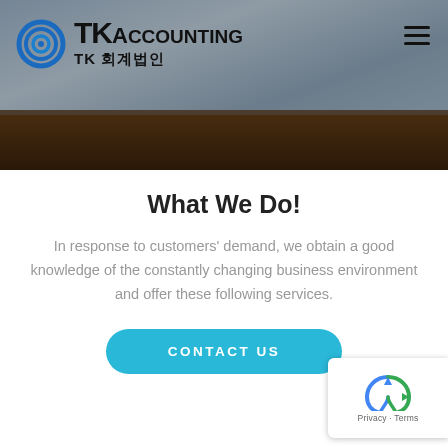[Figure (photo): Header banner showing a business meeting/consultation scene from above with people writing at a dark wooden table. TKAccounting logo with blue spiral icon overlaid on top left, plus Korean text 'TK 회계법인'. Hamburger menu icon top right.]
What We Do!
In response to customers' demand, we obtain a good knowledge of the constantly changing business environment and offer these following services.
CONTACT US